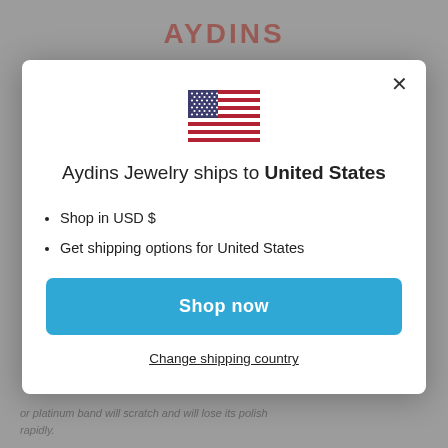AYDINS
[Figure (illustration): US flag emoji icon]
Aydins Jewelry ships to United States
Shop in USD $
Get shipping options for United States
Shop now
Change shipping country
or platinum band will scratch and will lose its polish rapidly.